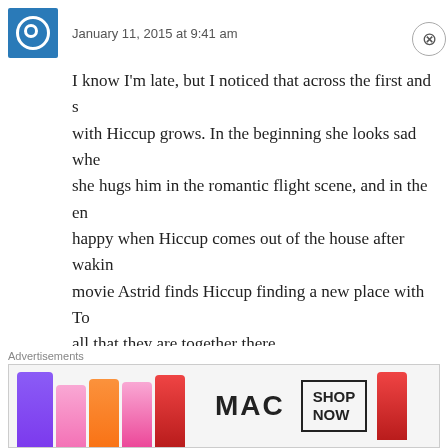January 11, 2015 at 9:41 am
I know I'm late, but I noticed that across the first and s... with Hiccup grows. In the beginning she looks sad whe... she hugs him in the romantic flight scene, and in the en... happy when Hiccup comes out of the house after wakin... movie Astrid finds Hiccup finding a new place with To... all that they are together there.
★ Like
👍 1  👎 0  ℹ Rate This
Reply
River Spirit says:
Advertisements